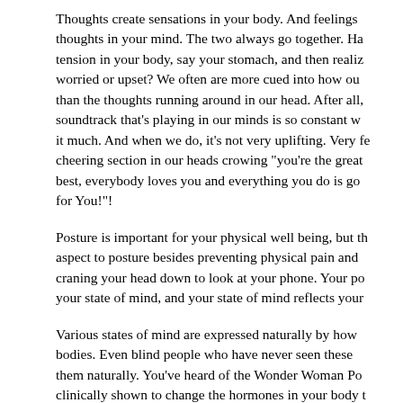Thoughts create sensations in your body. And feelings create thoughts in your mind. The two always go together. Have tension in your body, say your stomach, and then realize you're worried or upset? We often are more cued into how our body feels than the thoughts running around in our head. After all, the soundtrack that's playing in our minds is so constant we tune out it much. And when we do, it's not very uplifting. Very few of us a cheering section in our heads crowing "you're the greatest, the best, everybody loves you and everything you do is golden, Go for You!"!
Posture is important for your physical well being, but there's an aspect to posture besides preventing physical pain and avoiding craning your head down to look at your phone. Your posture reflects your state of mind, and your state of mind reflects your posture.
Various states of mind are expressed naturally by how we hold our bodies. Even blind people who have never seen these poses adopt them naturally. You've heard of the Wonder Woman Pose? It's been clinically shown to change the hormones in your body to reflect a confident profile. We know confidence or depression when we see it in others. It's part of the basic communication we do with body language.
Depressed postures include hunching the shoulders forward, collapsing the chest, and hanging the head. Picture the...